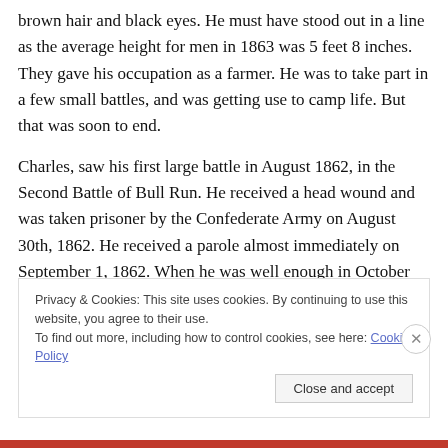brown hair and black eyes. He must have stood out in a line as the average height for men in 1863 was 5 feet 8 inches. They gave his occupation as a farmer. He was to take part in a few small battles, and was getting use to camp life. But that was soon to end.
Charles, saw his first large battle in August 1862, in the Second Battle of Bull Run. He received a head wound and was taken prisoner by the Confederate Army on August 30th, 1862. He received a parole almost immediately on September 1, 1862. When he was well enough in October
Privacy & Cookies: This site uses cookies. By continuing to use this website, you agree to their use.
To find out more, including how to control cookies, see here: Cookie Policy